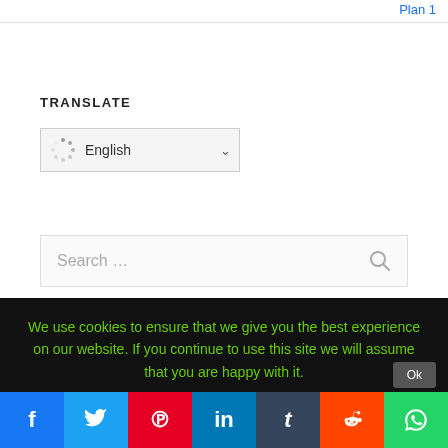Plan 1
TRANSLATE
[Figure (screenshot): Dropdown language selector showing 'English' with a loading spinner icon and a chevron/arrow]
[Figure (screenshot): Search input box with placeholder text 'Search ...' and a search magnifier icon]
We use cookies to ensure that we give you the best experience on our website. If you continue to use this site we will assume that you are happy with it.
[Figure (infographic): Social sharing bar with 7 buttons: Facebook (blue), Twitter (light blue), Pinterest (red), LinkedIn (dark blue), Tumblr (dark navy), Reddit (orange-red), WhatsApp (green)]